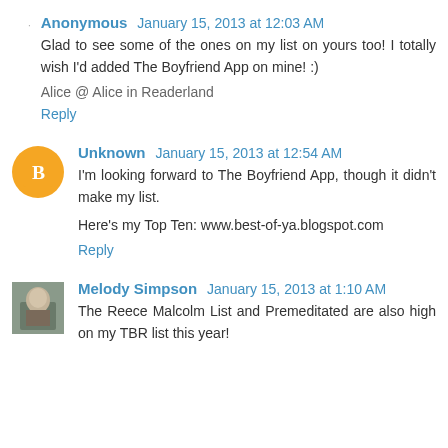Anonymous  January 15, 2013 at 12:03 AM
Glad to see some of the ones on my list on yours too! I totally wish I'd added The Boyfriend App on mine! :)
Alice @ Alice in Readerland
Reply
Unknown  January 15, 2013 at 12:54 AM
I'm looking forward to The Boyfriend App, though it didn't make my list.
Here's my Top Ten: www.best-of-ya.blogspot.com
Reply
Melody Simpson  January 15, 2013 at 1:10 AM
The Reece Malcolm List and Premeditated are also high on my TBR list this year!